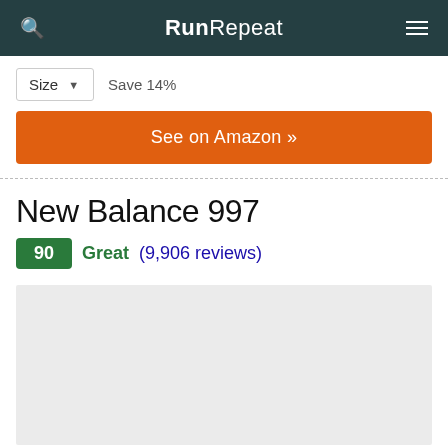RunRepeat
Size ▼   Save 14%
See on Amazon »
New Balance 997
90 Great (9,906 reviews)
[Figure (other): Gray placeholder advertisement box]